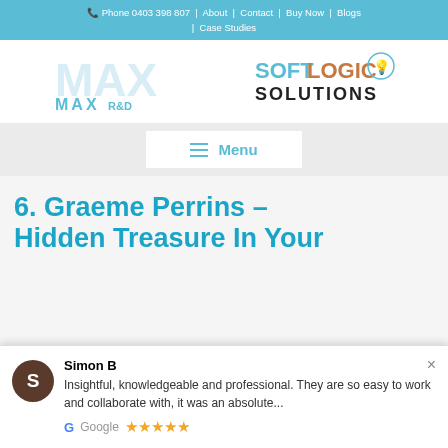Phone 0403 398 807 | About | Contact | Buy Now | Blogs | Case Studies
[Figure (logo): MAX R&D SoftLogic Solutions logo with lightbulb icon]
≡ Menu
6. Graeme Perrins – Hidden Treasure In Your
Simon B
Insightful, knowledgeable and professional. They are so easy to work and collaborate with, it was an absolute...
Google ★★★★★